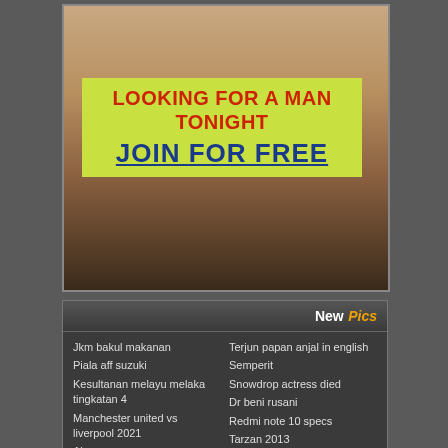[Figure (photo): Advertisement banner with photo and text overlay saying LOOKING FOR A MAN TONIGHT JOIN FOR FREE]
New Pics
Jkm bakul makanan
Piala aff suzuki
Kesultanan melayu melaka tingkatan 4
Manchester united vs liverpool 2021
Terjun papan anjal in english
Semperit
Snowdrop actress died
Dr beni rusani
Redmi note 10 specs
Tarzan 2013